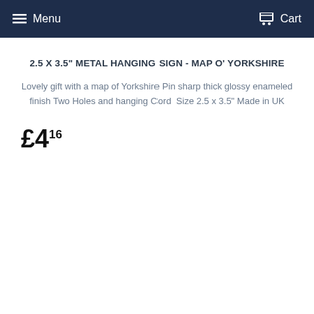Menu  Cart
2.5 X 3.5" METAL HANGING SIGN - MAP O' YORKSHIRE
Lovely gift with a map of Yorkshire Pin sharp thick glossy enameled finish Two Holes and hanging Cord  Size 2.5 x 3.5"  Made in UK
£4.16